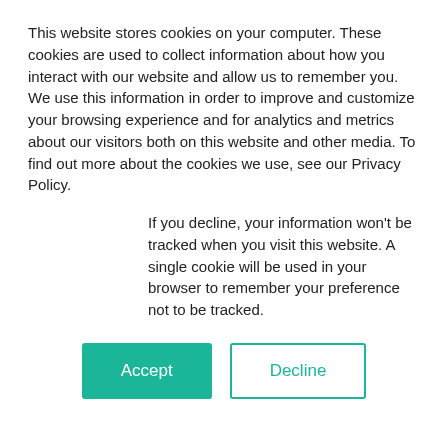This website stores cookies on your computer. These cookies are used to collect information about how you interact with our website and allow us to remember you. We use this information in order to improve and customize your browsing experience and for analytics and metrics about our visitors both on this website and other media. To find out more about the cookies we use, see our Privacy Policy.
If you decline, your information won't be tracked when you visit this website. A single cookie will be used in your browser to remember your preference not to be tracked.
Accept | Decline
is a peer-reviewed, online publication that addresses current topics affecting nursing practice, research, education, and the wider health care sector.
Find Out More...
Announcements
New Column in OJIN
Jean
Citation: Sorrell, J.M., (July 22, 2009) OJIN: The Online Journal of Issues in
DOI: 10.3912/OJIN.Vol14No03EthCo https://doi.org/10.3912/OJIN.Vol14No
The 1991 film What about Bob? depicts a number of insecurities and phobias. B when Leo goes on vacation, Bob con